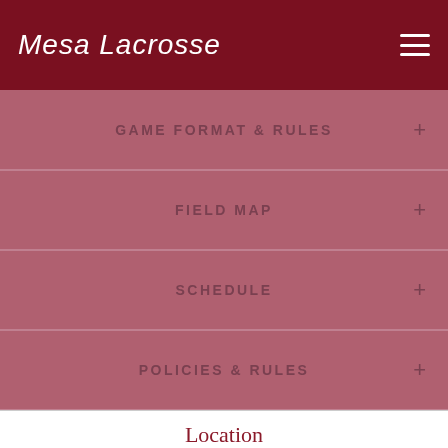Mesa Lacrosse
GAME FORMAT & RULES
FIELD MAP
SCHEDULE
POLICIES & RULES
Location
[Figure (map): Map placeholder area showing a location map]